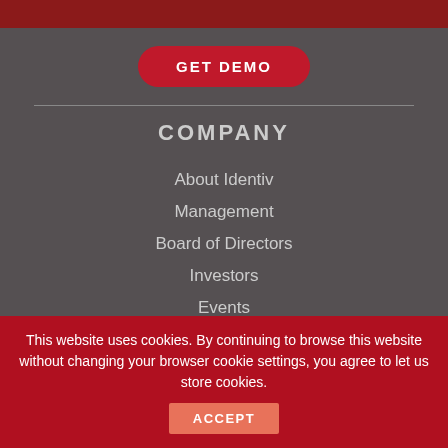GET DEMO
COMPANY
About Identiv
Management
Board of Directors
Investors
Events
Contact
Affiliations
Partners
This website uses cookies. By continuing to browse this website without changing your browser cookie settings, you agree to let us store cookies.
ACCEPT